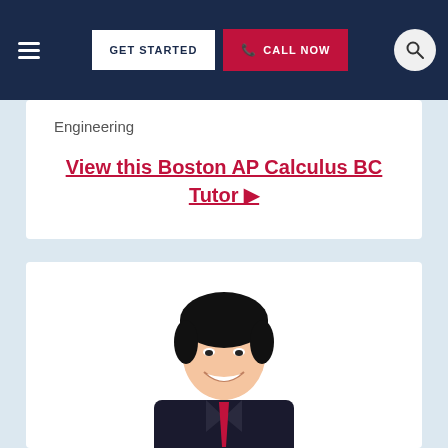GET STARTED | CALL NOW
Engineering
View this Boston AP Calculus BC Tutor ▶
[Figure (photo): Headshot photo of a young Asian male tutor wearing a dark suit and red tie, smiling at the camera against a white background.]